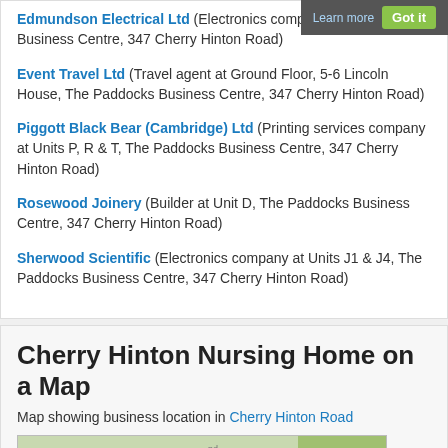Edmundson Electrical Ltd (Electronics company at Paddocks Business Centre, 347 Cherry Hinton Road)
Event Travel Ltd (Travel agent at Ground Floor, 5-6 Lincoln House, The Paddocks Business Centre, 347 Cherry Hinton Road)
Piggott Black Bear (Cambridge) Ltd (Printing services company at Units P, R & T, The Paddocks Business Centre, 347 Cherry Hinton Road)
Rosewood Joinery (Builder at Unit D, The Paddocks Business Centre, 347 Cherry Hinton Road)
Sherwood Scientific (Electronics company at Units J1 & J4, The Paddocks Business Centre, 347 Cherry Hinton Road)
Cherry Hinton Nursing Home on a Map
Map showing business location in Cherry Hinton Road
[Figure (map): Google map showing business location near Cherry Hinton Road]